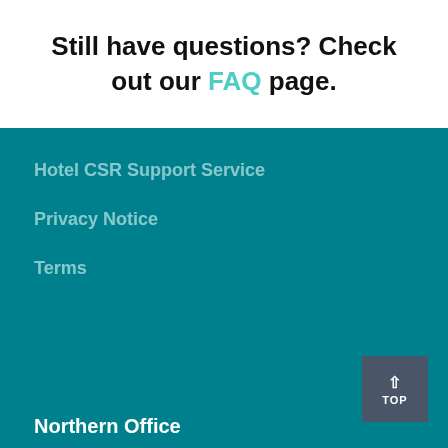Still have questions? Check out our FAQ page.
Hotel CSR Support Service
Privacy Notice
Terms
Northern Office
TOP